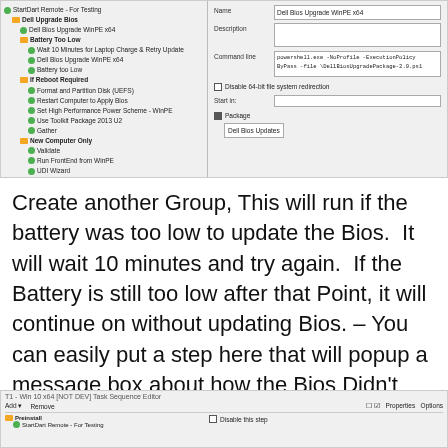[Figure (screenshot): SCCM Task Sequence Editor showing Dell BIOS upgrade task sequence tree on the left with grouped steps (Dell Upgrade Bios, Battery Too Low, If Reboot Required, New Computer Only, Double Check Bios Settings, Dell Computers) and Properties panel on the right showing Name: Dell Bios Upgrade WinPE x64 with command line using powershell.exe and Package: Dell Bios Updates]
Create another Group, This will run if the battery was too low to update the Bios.  It will wait 10 minutes and try again.  If the Battery is still too low after that Point, it will continue on without updating Bios. – You can easily put a step here that will popup a message box about how the Bios Didn't update, etc.
SMSTS_BiosUpdateBatteryCharge = True
[Figure (screenshot): Bottom portion of Task Sequence Editor showing Preinstall group with StartDart Remote - For Testing item and Properties/Options panel on the right with Disable this step checkbox]